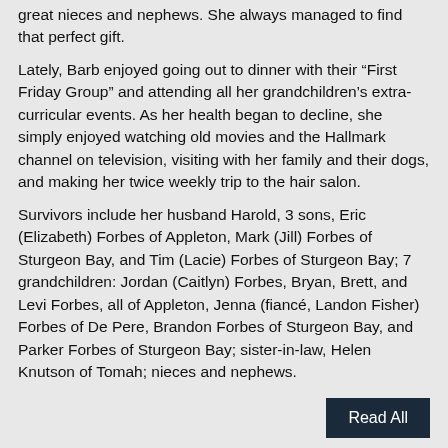great nieces and nephews.  She always managed to find that perfect gift.
Lately, Barb enjoyed going out to dinner with their “First Friday Group” and attending all her grandchildren’s extra-curricular events.  As her health began to decline, she simply enjoyed watching old movies and the Hallmark channel on television, visiting with her family and their dogs, and making her twice weekly trip to the hair salon.
Survivors include her husband Harold, 3 sons, Eric (Elizabeth) Forbes of Appleton, Mark (Jill) Forbes of Sturgeon Bay, and Tim (Lacie) Forbes of Sturgeon Bay; 7 grandchildren: Jordan (Caitlyn) Forbes, Bryan, Brett, and Levi Forbes, all of Appleton, Jenna (fiancé, Landon Fisher) Forbes of De Pere, Brandon Forbes of Sturgeon Bay, and Parker Forbes of Sturgeon Bay; sister-in-law, Helen Knutson of Tomah; nieces and nephews.
Read All